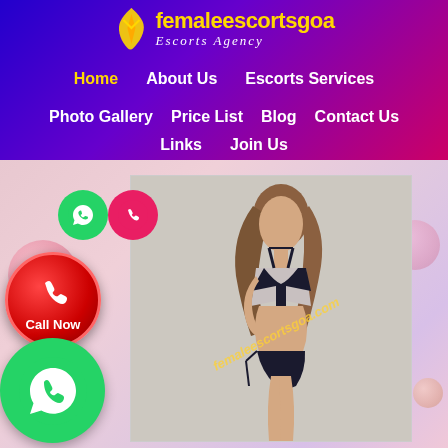femaleescortsgoa Escorts Agency
Home
About Us
Escorts Services
Photo Gallery
Price List
Blog
Contact Us
Links
Join Us
[Figure (photo): Woman in black bikini posing, back turned, looking over shoulder. Watermark reads femaleescortsgoa.com]
[Figure (illustration): WhatsApp green circle button (small)]
[Figure (illustration): Phone pink/red circle button (small)]
[Figure (illustration): Red Call Now button]
[Figure (illustration): Large green WhatsApp button]